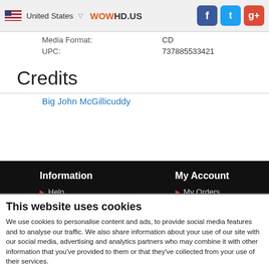United States | WOWHD.US | Social icons: Facebook, Twitter, Google+
Media Format: CD
UPC: 737885533421
Credits
Big John McGillicuddy
Information: Help, DVD Region Info, Blu-ray Region Info, Privacy Policy | My Account: My Orders, My Wishlist, Sign Up, Login
This website uses cookies
We use cookies to personalise content and ads, to provide social media features and to analyse our traffic. We also share information about your use of our site with our social media, advertising and analytics partners who may combine it with other information that you've provided to them or that they've collected from your use of their services.
OK | Show details